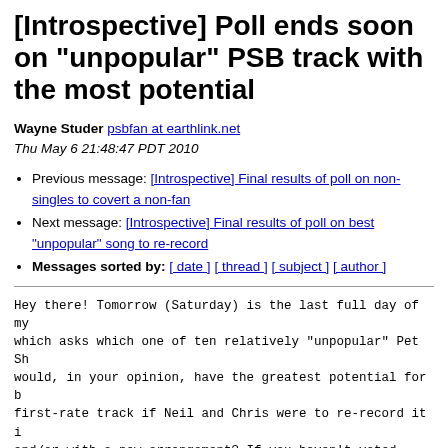[Introspective] Poll ends soon on "unpopular" PSB track with the most potential
Wayne Studer psbfan at earthlink.net
Thu May 6 21:48:47 PDT 2010
Previous message: [Introspective] Final results of poll on non-singles to covert a non-fan
Next message: [Introspective] Final results of poll on best "unpopular" song to re-record
Messages sorted by: [ date ] [ thread ] [ subject ] [ author ]
Hey there! Tomorrow (Saturday) is the last full day of my which asks which one of ten relatively "unpopular" Pet Sh would, in your opinion, have the greatest potential for b first-rate track if Neil and Chris were to re-record it i and/or with a new arrangement? If you haven't voted yet, moments to visit my "Commentary" site at http://www.geowa and make your choice right there on the home page.
On Sunday I will end this poll, post the final results, a